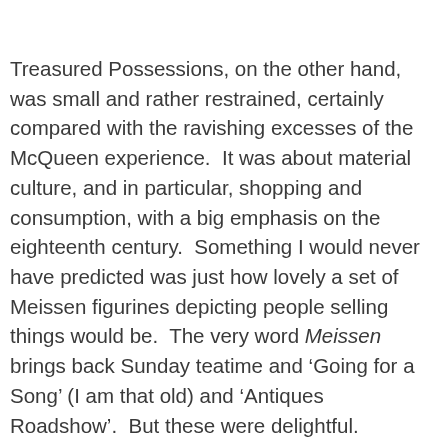Treasured Possessions, on the other hand, was small and rather restrained, certainly compared with the ravishing excesses of the McQueen experience.  It was about material culture, and in particular, shopping and consumption, with a big emphasis on the eighteenth century.  Something I would never have predicted was just how lovely a set of Meissen figurines depicting people selling things would be.  The very word Meissen brings back Sunday teatime and ‘Going for a Song’ (I am that old) and ‘Antiques Roadshow’.  But these were delightful.